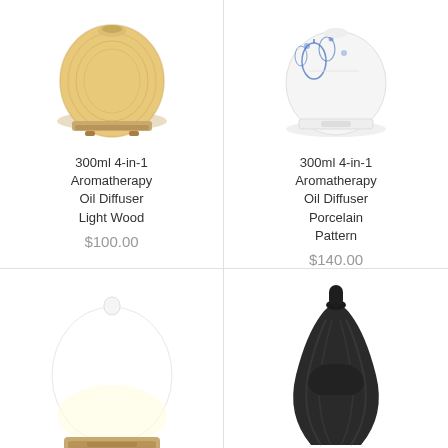[Figure (photo): 300ml 4-in-1 Aromatherapy Oil Diffuser in Light Wood finish, round bulb-shaped diffuser with wood grain texture]
300ml 4-in-1 Aromatherapy Oil Diffuser Light Wood
$100.00
[Figure (photo): 300ml 4-in-1 Aromatherapy Oil Diffuser in Porcelain Pattern, round diffuser with blue floral pattern on white background]
300ml 4-in-1 Aromatherapy Oil Diffuser Porcelain Pattern
$140.00
[Figure (photo): Round white oil diffuser with wood-grain base, glowing with warm light]
[Figure (photo): Dark wood grain vase-shaped tall oil diffuser with elegant curved form]